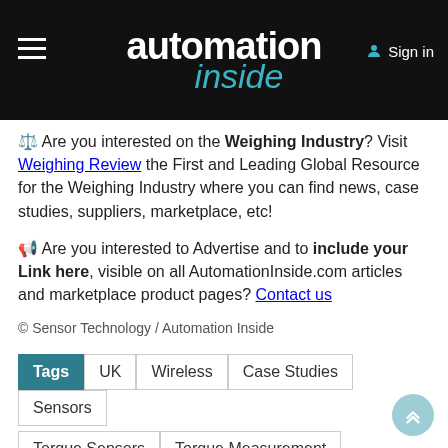automation inside
⚖ Are you interested on the Weighing Industry? Visit Weighing Review the First and Leading Global Resource for the Weighing Industry where you can find news, case studies, suppliers, marketplace, etc!
📣 Are you interested to Advertise and to include your Link here, visible on all AutomationInside.com articles and marketplace product pages? Contact us
© Sensor Technology / Automation Inside
Tags | UK | Wireless | Case Studies | Sensors | Torque Sensors | Torque Measurement